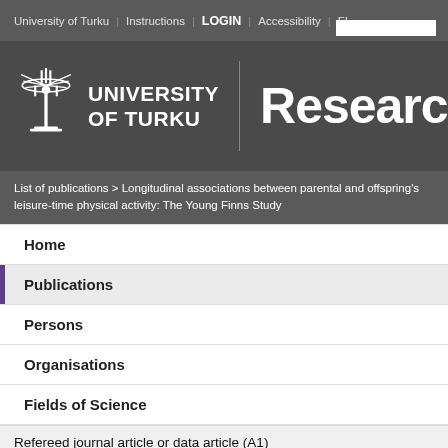University of Turku | Instructions | LOGIN | Accessibility | FI
[Figure (logo): University of Turku logo with trident emblem and text UNIVERSITY OF TURKU, followed by 'Research' text in large white font on dark grey background]
List of publications > Longitudinal associations between parental and offspring's leisure-time physical activity: The Young Finns Study
Home
Publications
Persons
Organisations
Fields of Science
Refereed journal article or data article (A1)
Longitudinal associations between parental and offspring's